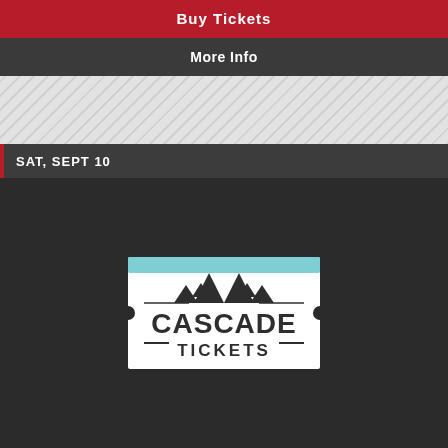Buy Tickets
More Info
SAT, SEPT 10
[Figure (logo): Cascade Tickets logo — ticket-shaped badge with mountain silhouette above bold text CASCADE TICKETS, dark charcoal on white background with teal accent border strip at top]